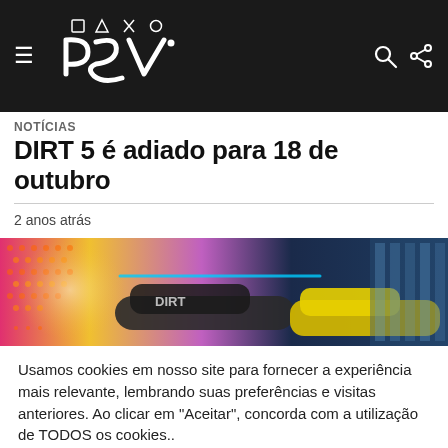PSV (PlayStation Vita news site) logo and navigation header
NOTÍCIAS
DIRT 5 é adiado para 18 de outubro
2 anos atrás
[Figure (photo): DIRT 5 racing game promotional image showing colorful race cars with neon lighting and halftone graphic effects]
Usamos cookies em nosso site para fornecer a experiência mais relevante, lembrando suas preferências e visitas anteriores. Ao clicar em "Aceitar", concorda com a utilização de TODOS os cookies..
.
Configurações de Cookie | Aceitar e Continuar